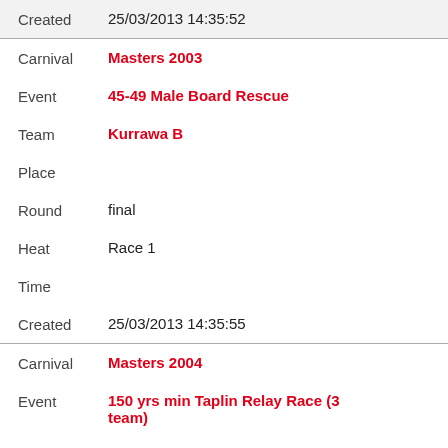| Created | 25/03/2013 14:35:52 |
| Carnival | Masters 2003 |
| Event | 45-49 Male Board Rescue |
| Team | Kurrawa B |
| Place |  |
| Round | final |
| Heat | Race 1 |
| Time |  |
| Created | 25/03/2013 14:35:55 |
| Carnival | Masters 2004 |
| Event | 150 yrs min Taplin Relay Race (3 team) |
| Team | Kurrawa C |
| Place |  |